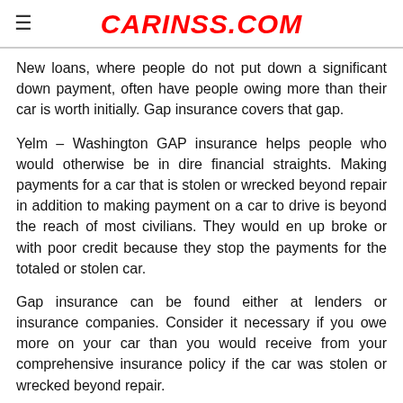CARINSS.COM
New loans, where people do not put down a significant down payment, often have people owing more than their car is worth initially. Gap insurance covers that gap.
Yelm – Washington GAP insurance helps people who would otherwise be in dire financial straights. Making payments for a car that is stolen or wrecked beyond repair in addition to making payment on a car to drive is beyond the reach of most civilians. They would en up broke or with poor credit because they stop the payments for the totaled or stolen car.
Gap insurance can be found either at lenders or insurance companies. Consider it necessary if you owe more on your car than you would receive from your comprehensive insurance policy if the car was stolen or wrecked beyond repair.